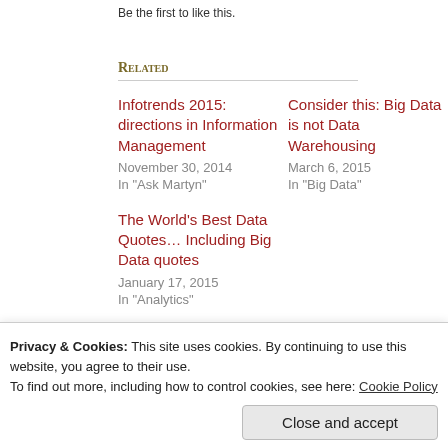Be the first to like this.
Related
Infotrends 2015: directions in Information Management
November 30, 2014
In "Ask Martyn"
Consider this: Big Data is not Data Warehousing
March 6, 2015
In "Big Data"
The World's Best Data Quotes… Including Big Data quotes
January 17, 2015
In "Analytics"
Privacy & Cookies: This site uses cookies. By continuing to use this website, you agree to their use.
To find out more, including how to control cookies, see here: Cookie Policy
Close and accept